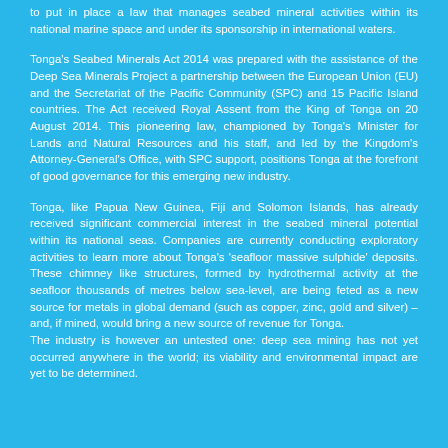to put in place a law that manages seabed mineral activities within its national marine space and under its sponsorship in international waters.
Tonga's Seabed Minerals Act 2014 was prepared with the assistance of the Deep Sea Minerals Project a partnership between the European Union (EU) and the Secretariat of the Pacific Community (SPC) and 15 Pacific Island countries. The Act received Royal Assent from the King of Tonga on 20 August 2014. This pioneering law, championed by Tonga's Minister for Lands and Natural Resources and his staff, and led by the Kingdom's Attorney-General's Office, with SPC support, positions Tonga at the forefront of good governance for this emerging new industry.
Tonga, like Papua New Guinea, Fiji and Solomon Islands, has already received significant commercial interest in the seabed mineral potential within its national seas. Companies are currently conducting exploratory activities to learn more about Tonga's 'seafloor massive sulphide' deposits. These chimney like structures, formed by hydrothermal activity at the seafloor thousands of metres below sea-level, are being feted as a new source for metals in global demand (such as copper, zinc, gold and silver) – and, if mined, would bring a new source of revenue for Tonga.
The industry is however an untested one: deep sea mining has not yet occurred anywhere in the world; its viability and environmental impact are yet to be determined.